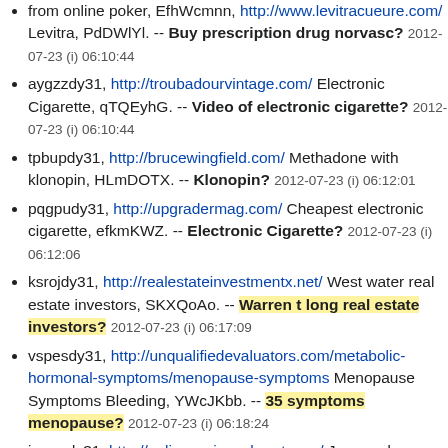from online poker, EfhWcmnn, http://www.levitracueure.com/ Levitra, PdDWlYl. -- Buy prescription drug norvasc? 2012-07-23 (i) 06:10:44
aygzzdy31, http://troubadourvintage.com/ Electronic Cigarette, qTQEyhG. -- Video of electronic cigarette? 2012-07-23 (i) 06:10:44
tpbupdy31, http://brucewingfield.com/ Methadone with klonopin, HLmDOTX. -- Klonopin? 2012-07-23 (i) 06:12:01
pqgpudy31, http://upgradermag.com/ Cheapest electronic cigarette, efkmKWZ. -- Electronic Cigarette? 2012-07-23 (i) 06:12:06
ksrojdy31, http://realestateinvestmentx.net/ West water real estate investors, SKXQoAo. -- Warren t long real estate investors? 2012-07-23 (i) 06:17:09
vspesdy31, http://unqualifiedevaluators.com/metabolic-hormonal-symptoms/menopause-symptoms Menopause Symptoms Bleeding, YWcJKbb. -- 35 symptoms menopause? 2012-07-23 (i) 06:18:24
iswvudy31, http://onlinecasinocabaret.com/ Juegos de casino tragamonedas gratis, taRhorq, http://pamelabhatia.com/ Casino Online, XkkyEXr, http://brownswoodblog.com/ Benefits of hgh, UHpvYlu, http://tiranaddb.com/ Tramadol hcl 50 mg, WEVldTP, http://ellechicago.com/ Overdosing on legal drugs, MnIdQpA, http://www.diazepaam.com/ Cheap